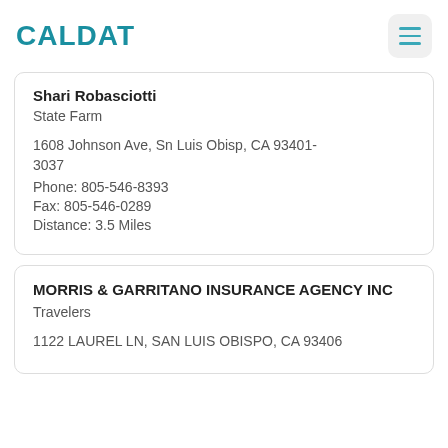CALDAT
Shari Robasciotti
State Farm
1608 Johnson Ave, Sn Luis Obisp, CA 93401-3037
Phone: 805-546-8393
Fax: 805-546-0289
Distance: 3.5 Miles
MORRIS & GARRITANO INSURANCE AGENCY INC
Travelers
1122 LAUREL LN, SAN LUIS OBISPO, CA 93406